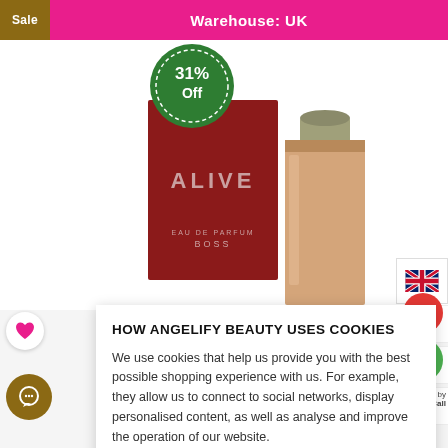Sale   Warehouse: UK
[Figure (infographic): Green circular badge with dotted border showing '31% Off' discount label]
[Figure (photo): Hugo Boss ALIVE Eau de Parfum product photo showing red box and perfume bottle]
HOW ANGELIFY BEAUTY USES COOKIES
We use cookies that help us provide you with the best possible shopping experience with us. For example, they allow us to connect to social networks, display personalised content, as well as analyse and improve the operation of our website.
ACCEPT ALL
COOKIE DETAILS